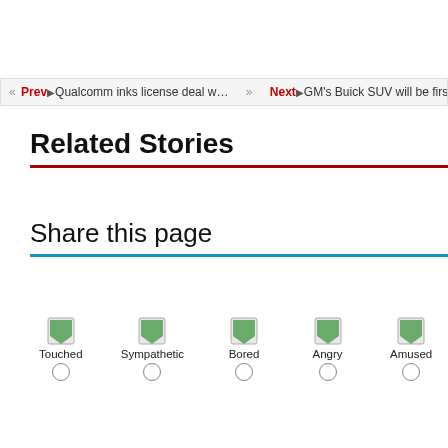« Prev►Qualcomm inks license deal w… » Next►GM's Buick SUV will be firs
Related Stories
Share this page
[Figure (infographic): Emotion reaction icons with radio buttons: Touched, Sympathetic, Bored, Angry, Amused]